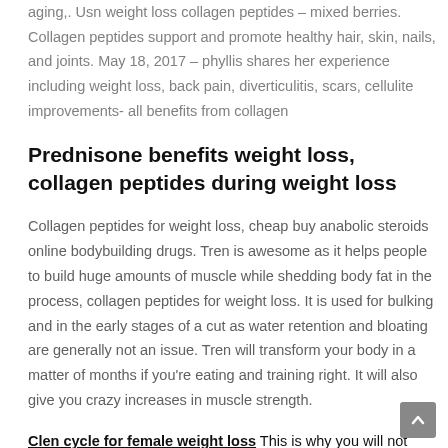aging,. Usn weight loss collagen peptides – mixed berries. Collagen peptides support and promote healthy hair, skin, nails, and joints. May 18, 2017 – phyllis shares her experience including weight loss, back pain, diverticulitis, scars, cellulite improvements- all benefits from collagen
Prednisone benefits weight loss, collagen peptides during weight loss
Collagen peptides for weight loss, cheap buy anabolic steroids online bodybuilding drugs. Tren is awesome as it helps people to build huge amounts of muscle while shedding body fat in the process, collagen peptides for weight loss. It is used for bulking and in the early stages of a cut as water retention and bloating are generally not an issue. Tren will transform your body in a matter of months if you're eating and training right. It will also give you crazy increases in muscle strength.
Clen cycle for female weight loss This is why you will not only